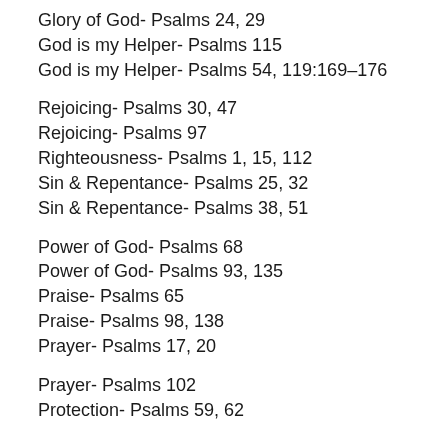Glory of God- Psalms 24, 29
God is my Helper- Psalms 115
God is my Helper- Psalms 54, 119:169–176
Rejoicing- Psalms 30, 47
Rejoicing- Psalms 97
Righteousness- Psalms 1, 15, 112
Sin & Repentance- Psalms 25, 32
Sin & Repentance- Psalms 38, 51
Power of God- Psalms 68
Power of God- Psalms 93, 135
Praise- Psalms 65
Praise- Psalms 98, 138
Prayer- Psalms 17, 20
Prayer- Psalms 102
Protection- Psalms 59, 62